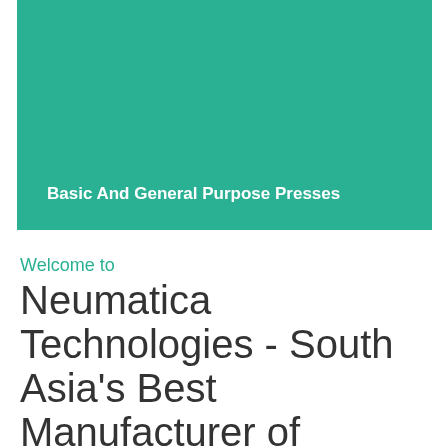[Figure (photo): Teal/green banner image for Basic And General Purpose Presses section]
Basic And General Purpose Presses
Welcome to
Neumatica Technologies - South Asia's Best Manufacturer of Assembly